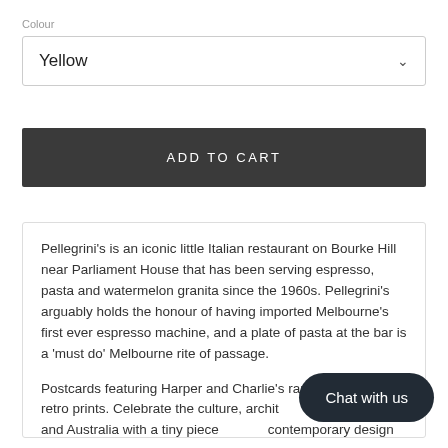Colour
Yellow
ADD TO CART
Pellegrini's is an iconic little Italian restaurant on Bourke Hill near Parliament House that has been serving espresso, pasta and watermelon granita since the 1960s. Pellegrini's arguably holds the honour of having imported Melbourne's first ever espresso machine, and a plate of pasta at the bar is a 'must do' Melbourne rite of passage.
Postcards featuring Harper and Charlie's range of original retro prints. Celebrate the culture, architecture of Melbourne and Australia with a tiny piece of their contemporary design community!
Chat with us